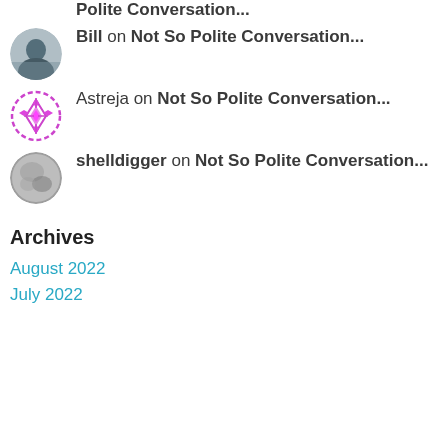Polite Conversation...
Bill on Not So Polite Conversation...
Astreja on Not So Polite Conversation...
shelldigger on Not So Polite Conversation...
Archives
August 2022
July 2022